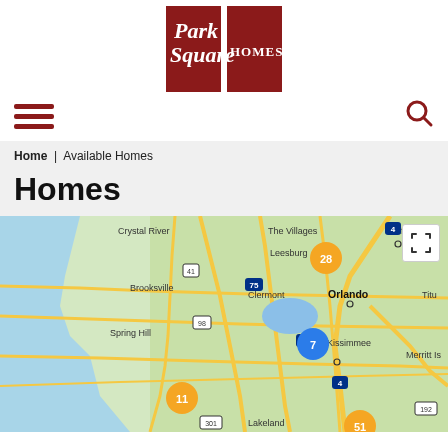[Figure (logo): Park Square Homes logo — dark red square with white serif text 'Park Square HOMES']
[Figure (screenshot): Website navigation bar with hamburger menu icon (three dark red horizontal bars) on the left and a dark red magnifying glass search icon on the right]
Home | Available Homes
Homes
[Figure (map): Google Maps view of Central Florida showing cities including Crystal River, The Villages, Leesburg, Brooksville, Clermont, Sanford, Orlando, Kissimmee, Spring Hill, Titusville, Merritt Island, and Lakeland. Orange cluster markers show 28, 11, and 51 homes; blue cluster markers show 7 homes. Highway markers for routes 4, 41, 75, 98, 192, 301 are visible.]